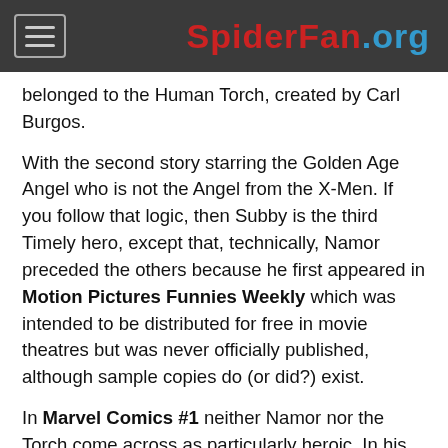SpiderFan.org
belonged to the Human Torch, created by Carl Burgos.
With the second story starring the Golden Age Angel who is not the Angel from the X-Men. If you follow that logic, then Subby is the third Timely hero, except that, technically, Namor preceded the others because he first appeared in Motion Pictures Funnies Weekly which was intended to be distributed for free in movie theatres but was never officially published, although sample copies do (or did?) exist.
In Marvel Comics #1 neither Namor nor the Torch come across as particularly heroic. In his first story, Namor kills two deep-sea divers, thinking them robots, and destroys their salvage ship. His mother urges him into a “war of revenge” against the surface people even though his father was one of them. In his story, the Torch initially